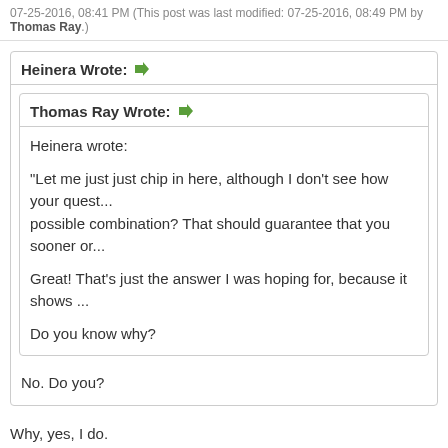07-25-2016, 08:41 PM (This post was last modified: 07-25-2016, 08:49 PM by Thomas Ray.)
Heinera Wrote: [arrow] Thomas Ray Wrote: [arrow] Heinera wrote: "Let me just just chip in here, although I don't see how your quest... possible combination? That should guarantee that you sooner or... Great! That's just the answer I was hoping for, because it shows... Do you know why? No. Do you?
Why, yes, I do.
http://www.science20.com/alpha_meme/offi...enge-80168